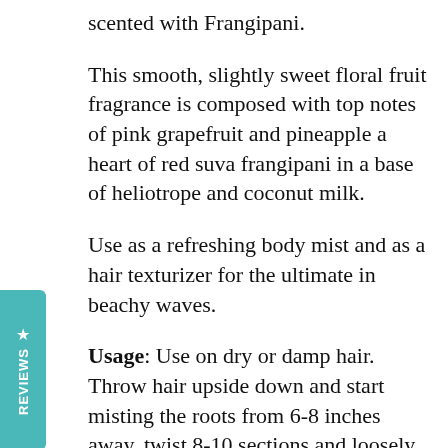scented with Frangipani.
This smooth, slightly sweet floral fruit fragrance is composed with top notes of pink grapefruit and pineapple a heart of red suva frangipani in a base of heliotrope and coconut milk.
Use as a refreshing body mist and as a hair texturizer for the ultimate in beachy waves.
Usage: Use on dry or damp hair. Throw hair upside down and start misting the roots from 6-8 inches away. twist 8-10 sections and loosely pin-up in twists on the top of your head. Use a diffuser